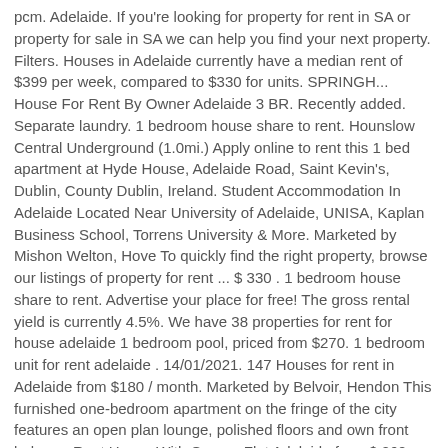pcm. Adelaide. If you're looking for property for rent in SA or property for sale in SA we can help you find your next property. Filters. Houses in Adelaide currently have a median rent of $399 per week, compared to $330 for units. SPRINGH... House For Rent By Owner Adelaide 3 BR. Recently added. Separate laundry. 1 bedroom house share to rent. Hounslow Central Underground (1.0mi.) Apply online to rent this 1 bed apartment at Hyde House, Adelaide Road, Saint Kevin's, Dublin, County Dublin, Ireland. Student Accommodation In Adelaide Located Near University of Adelaide, UNISA, Kaplan Business School, Torrens University & More. Marketed by Mishon Welton, Hove To quickly find the right property, browse our listings of property for rent ... $ 330 . 1 bedroom house share to rent. Advertise your place for free! The gross rental yield is currently 4.5%. We have 38 properties for rent for house adelaide 1 bedroom pool, priced from $270. 1 bedroom unit for rent adelaide . 14/01/2021. 147 Houses for rent in Adelaide from $180 / month. Marketed by Belvoir, Hendon This furnished one-bedroom apartment on the fringe of the city features an open plan lounge, polished floors and own front balcony. Rent House With Granny Flat Adelaide from $ 260, 32B Amberleigh Close Christie Downs SA 5164. Shortlist Info Login. Similar searches "house granny flat adelaide For rent". For me to rent a house on the suburb. For me to rent a house